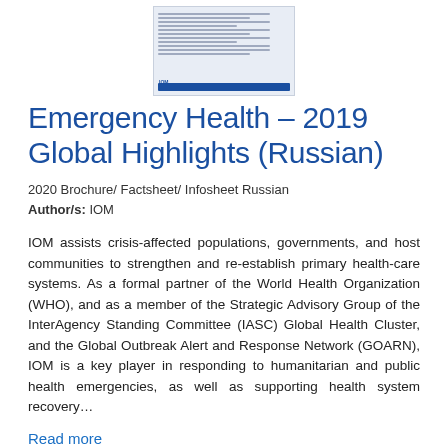[Figure (screenshot): Thumbnail preview of the Emergency Health 2019 Global Highlights document in Russian]
Emergency Health – 2019 Global Highlights (Russian)
2020 Brochure/ Factsheet/ Infosheet Russian
Author/s: IOM
IOM assists crisis-affected populations, governments, and host communities to strengthen and re-establish primary health-care systems. As a formal partner of the World Health Organization (WHO), and as a member of the Strategic Advisory Group of the InterAgency Standing Committee (IASC) Global Health Cluster, and the Global Outbreak Alert and Response Network (GOARN), IOM is a key player in responding to humanitarian and public health emergencies, as well as supporting health system recovery…
Read more